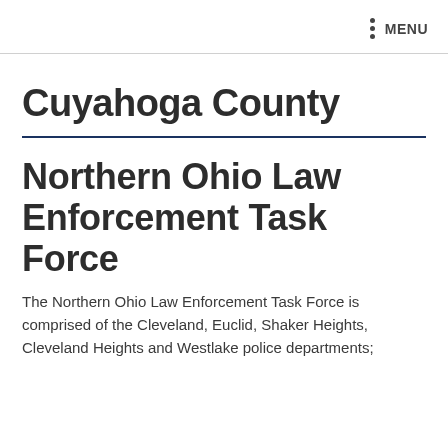MENU
Cuyahoga County
Northern Ohio Law Enforcement Task Force
The Northern Ohio Law Enforcement Task Force is comprised of the Cleveland, Euclid, Shaker Heights, Cleveland Heights and Westlake police departments;